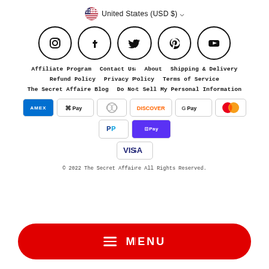United States (USD $)
[Figure (infographic): Social media icons in circles: Instagram, Facebook, Twitter, Pinterest, YouTube]
Affiliate Program
Contact Us
About
Shipping & Delivery
Refund Policy
Privacy Policy
Terms of Service
The Secret Affaire Blog
Do Not Sell My Personal Information
[Figure (infographic): Payment method icons: American Express, Apple Pay, Diners, Discover, Google Pay, Mastercard, PayPal, Shop Pay, Visa]
© 2022 The Secret Affaire All Rights Reserved.
[Figure (infographic): Red pill-shaped MENU button with hamburger icon]